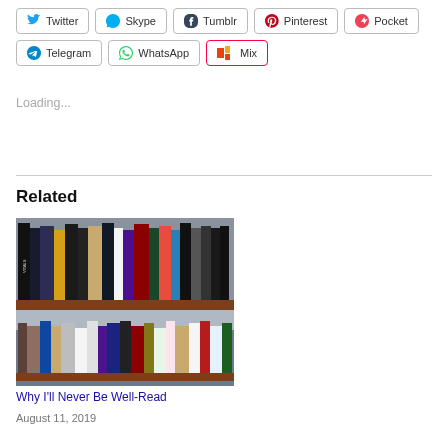Twitter
Skype
Tumblr
Pinterest
Pocket
Telegram
WhatsApp
Mix
Loading...
Related
[Figure (photo): Photo of two shelves of books, various titles visible, on a wooden bookshelf]
Why I'll Never Be Well-Read
August 11, 2019